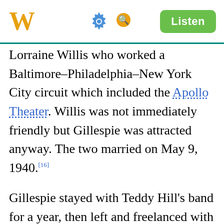W [Wikipedia app header with gear, search icons and Listen button]
Lorraine Willis who worked a Baltimore–Philadelphia–New York City circuit which included the Apollo Theater. Willis was not immediately friendly but Gillespie was attracted anyway. The two married on May 9, 1940.[16]
Gillespie stayed with Teddy Hill's band for a year, then left and freelanced with other bands.[3] In 1939, with the help of Willis, Gillespie joined Cab Calloway's orchestra.[14] H